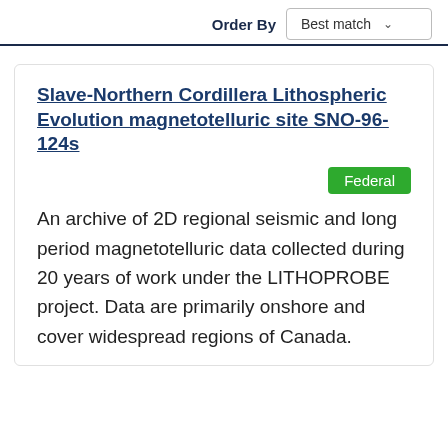Order By
Best match
Slave-Northern Cordillera Lithospheric Evolution magnetotelluric site SNO-96-124s
Federal
An archive of 2D regional seismic and long period magnetotelluric data collected during 20 years of work under the LITHOPROBE project. Data are primarily onshore and cover widespread regions of Canada.